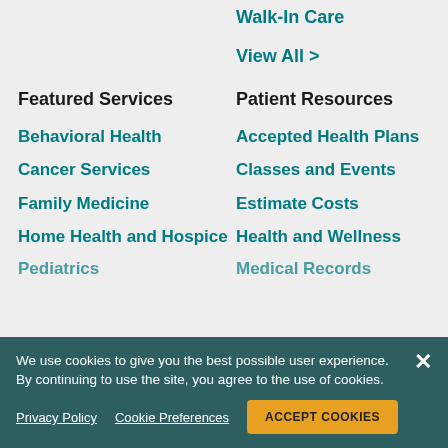Walk-In Care
View All >
Featured Services
Patient Resources
Behavioral Health
Accepted Health Plans
Cancer Services
Classes and Events
Family Medicine
Estimate Costs
Home Health and Hospice
Health and Wellness
Medical Records
Pediatrics
We use cookies to give you the best possible user experience. By continuing to use the site, you agree to the use of cookies.
Privacy Policy
Cookie Preferences
ACCEPT COOKIES